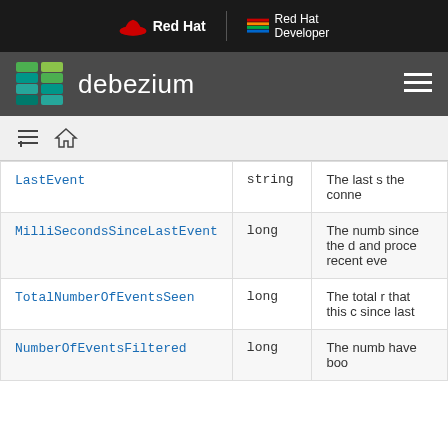Red Hat | Red Hat Developer
debezium
|  | Type | Description |
| --- | --- | --- |
| LastEvent | string | The last s the conne |
| MilliSecondsSinceLastEvent | long | The numb since the d and proce recent eve |
| TotalNumberOfEventsSeen | long | The total r that this c since last |
| NumberOfEventsFiltered | long | The numb have boo |